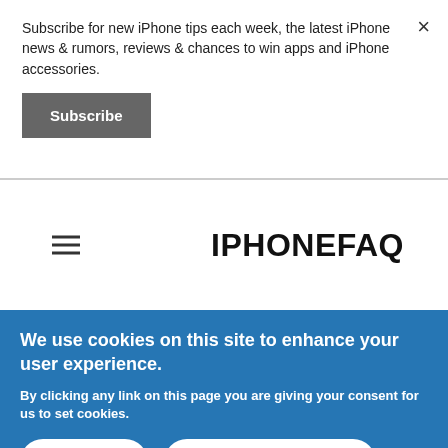Subscribe for new iPhone tips each week, the latest iPhone news & rumors, reviews & chances to win apps and iPhone accessories.
Subscribe
[Figure (logo): IPHONEFAQ site logo in bold black text]
We use cookies on this site to enhance your user experience.
By clicking any link on this page you are giving your consent for us to set cookies.
OK, I agree
No, give me more info